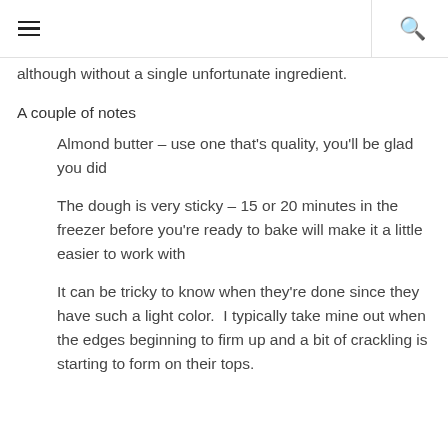☰  🔍
although without a single unfortunate ingredient.
A couple of notes
Almond butter – use one that's quality, you'll be glad you did
The dough is very sticky – 15 or 20 minutes in the freezer before you're ready to bake will make it a little easier to work with
It can be tricky to know when they're done since they have such a light color.  I typically take mine out when the edges beginning to firm up and a bit of crackling is starting to form on their tops.